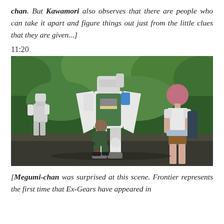chan. But Kawamori also observes that there are people who can take it apart and figure things out just from the little clues that they are given...]
11:20
[Figure (photo): Anime screenshot showing large mecha/Ex-Gear robots outdoors in a forest setting, with human characters nearby including one crouching and one standing girl with pink hair viewed from behind.]
[Megumi-chan was surprised at this scene. Frontier represents the first time that Ex-Gears have appeared in